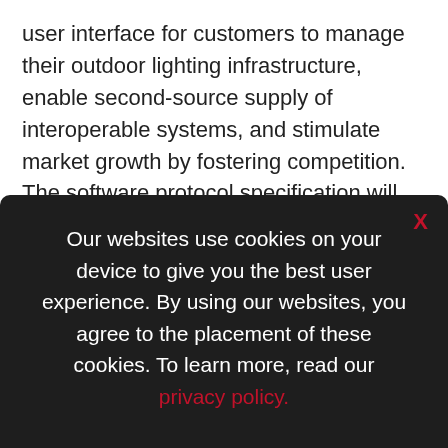user interface for customers to manage their outdoor lighting infrastructure, enable second-source supply of interoperable systems, and stimulate market growth by fostering competition. The software protocol specification will be independent from the various physical communication technologies in existence today (e.g. wireless, power line, etc.) and will be able to accommodate future standard enhancements.
Our websites use cookies on your device to give you the best user experience. By using our websites, you agree to the placement of these cookies. To learn more, read our privacy policy.